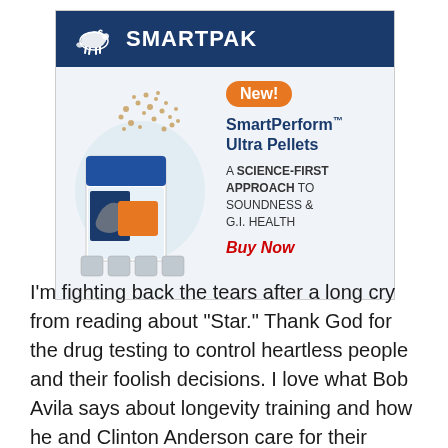[Figure (advertisement): SmartPak advertisement featuring SmartPerform Ultra Pellets product with navy blue header showing SmartPak logo with horse, product image with pellets spilling from bag, orange 'New!' badge, product name, description about science-first approach to soundness and G.I. health, and red 'Buy Now' call to action]
I’m fighting back the tears after a long cry from reading about “Star.” Thank God for the drug testing to control heartless people and their foolish decisions. I love what Bob Avila says about longevity training and how he and Clinton Anderson care for their horses. We